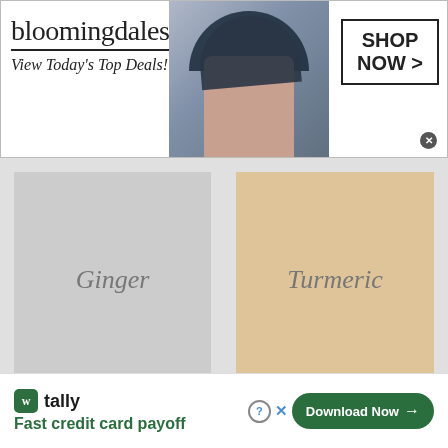[Figure (screenshot): Bloomingdales advertisement banner with logo, 'View Today's Top Deals!' tagline, model with large hat, and 'SHOP NOW >' button with close X]
[Figure (illustration): Two spice category cards side by side: left card showing 'Ginger' in italic text on gray background, right card showing 'Turmeric' in italic text on tan/beige background]
[Figure (screenshot): OneGreenPlanet support advertisement with salmon/coral background, 'SUPPORT' in white bold text above 'OneGreenPlanet' in black cursive/script font, with X close button]
[Figure (screenshot): Tally app advertisement: green Tally logo icon, 'tally' name, 'Fast credit card payoff' tagline, and green 'Download Now >' button with help and close buttons]